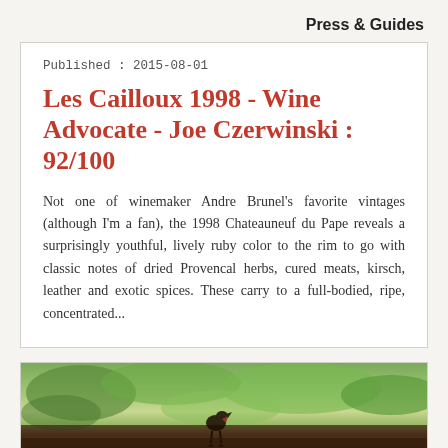Press & Guides
Published : 2015-08-01
Les Cailloux 1998 - Wine Advocate - Joe Czerwinski : 92/100
Not one of winemaker Andre Brunel's favorite vintages (although I'm a fan), the 1998 Chateauneuf du Pape reveals a surprisingly youthful, lively ruby color to the rim to go with classic notes of dried Provencal herbs, cured meats, kirsch, leather and exotic spices. These carry to a full-bodied, ripe, concentrated...
[Figure (photo): Vineyard photo showing green vines and foliage with what appears to be a bird or rooster in the lower portion]